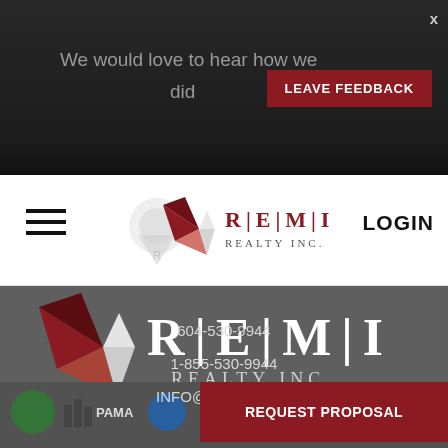We would love to hear how we did
LEAVE FEEDBACK
[Figure (logo): REMI REALTY INC. logo in navigation bar]
LOGIN
[Figure (logo): REMI REALTY INC. large logo in footer section]
604-530-9944
1-855-530-9944
INFO@remirealty.ca
[Figure (logo): PAMA and other affiliate logos at bottom]
REQUEST PROPOSAL